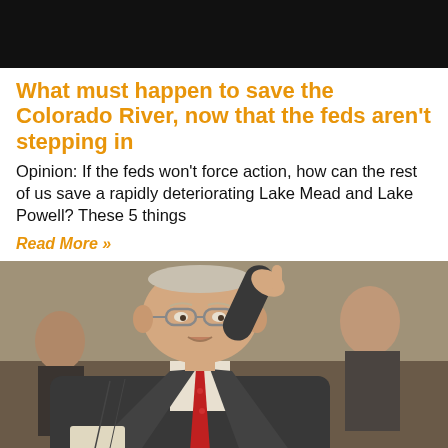[Figure (photo): Dark top banner image, partial view of a scene]
What must happen to save the Colorado River, now that the feds aren't stepping in
Opinion: If the feds won't force action, how can the rest of us save a rapidly deteriorating Lake Mead and Lake Powell? These 5 things
Read More »
[Figure (photo): Older man in a dark suit with a red tie, raising his hand to his head, photographed at an event]